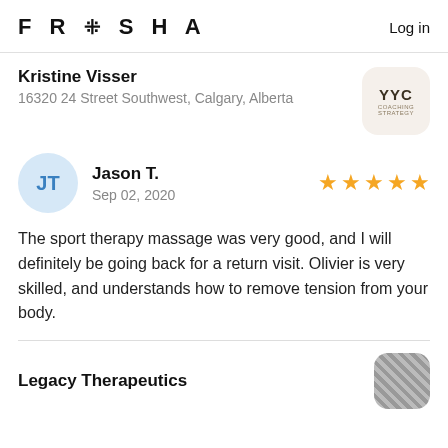FRESHA   Log in
Kristine Visser
16320 24 Street Southwest, Calgary, Alberta
[Figure (logo): YYC logo on beige rounded square background]
[Figure (illustration): JT avatar circle in light blue]
Jason T.
Sep 02, 2020
[Figure (infographic): 5 gold stars rating]
The sport therapy massage was very good, and I will definitely be going back for a return visit. Olivier is very skilled, and understands how to remove tension from your body.
Legacy Therapeutics